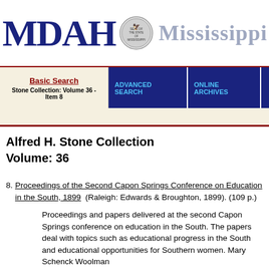[Figure (logo): MDAH logo with Mississippi state seal and 'Mississippi Arch' text in header banner]
Basic Search | Stone Collection: Volume 36 - Item 8 | Advanced Search | Online Archives | Help
Alfred H. Stone Collection
Volume: 36
8. Proceedings of the Second Capon Springs Conference on Education in the South, 1899 (Raleigh: Edwards & Broughton, 1899). (109 p.)
Proceedings and papers delivered at the second Capon Springs conference on education in the South. The papers deal with topics such as educational progress in the South and educational opportunities for Southern women. Mary Schenck Woolman